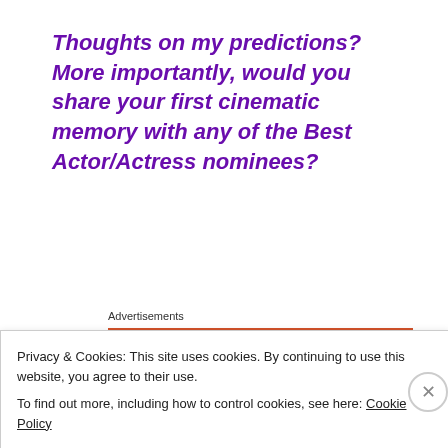Thoughts on my predictions? More importantly, would you share your first cinematic memory with any of the Best Actor/Actress nominees?
Advertisements
[Figure (screenshot): Orange advertisement banner with white bold text reading 'Search, browse, and email with more privacy.']
Privacy & Cookies: This site uses cookies. By continuing to use this website, you agree to their use.
To find out more, including how to control cookies, see here: Cookie Policy
Close and accept